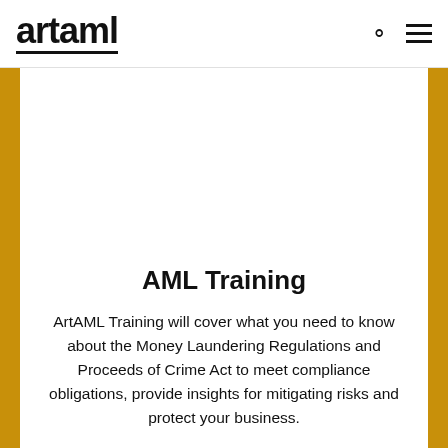artaml
AML Training
ArtAML Training will cover what you need to know about the Money Laundering Regulations and Proceeds of Crime Act to meet compliance obligations, provide insights for mitigating risks and protect your business.